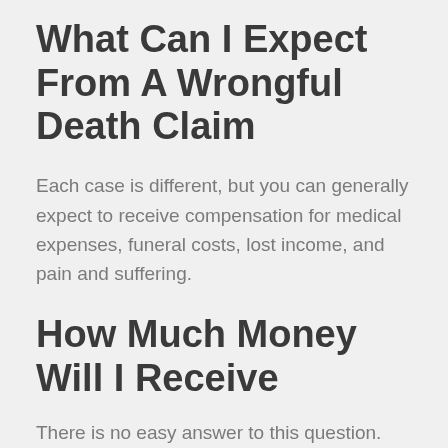What Can I Expect From A Wrongful Death Claim
Each case is different, but you can generally expect to receive compensation for medical expenses, funeral costs, lost income, and pain and suffering.
How Much Money Will I Receive
There is no easy answer to this question. The